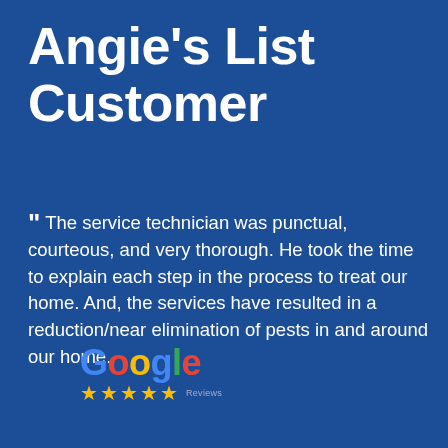Angie's List Customer
" The service technician was punctual, courteous, and very thorough. He took the time to explain each step in the process to treat our home. And, the services have resulted in a reduction/near elimination of pests in and around our home.
[Figure (logo): Google logo with five yellow stars and 'Reviews' text below]